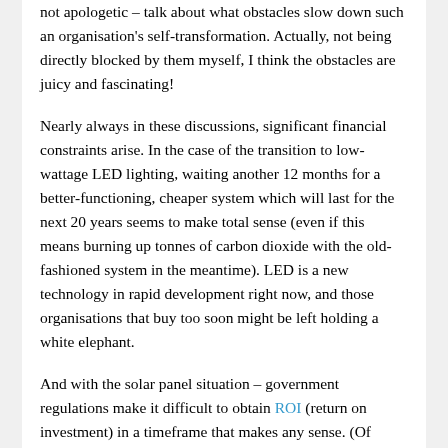not apologetic – talk about what obstacles slow down such an organisation's self-transformation. Actually, not being directly blocked by them myself, I think the obstacles are juicy and fascinating!
Nearly always in these discussions, significant financial constraints arise. In the case of the transition to low-wattage LED lighting, waiting another 12 months for a better-functioning, cheaper system which will last for the next 20 years seems to make total sense (even if this means burning up tonnes of carbon dioxide with the old-fashioned system in the meantime). LED is a new technology in rapid development right now, and those organisations that buy too soon might be left holding a white elephant.
And with the solar panel situation – government regulations make it difficult to obtain ROI (return on investment) in a timeframe that makes any sense. (Of course, one could argue that there are ways to think about “investment” other than straight-up finance… )